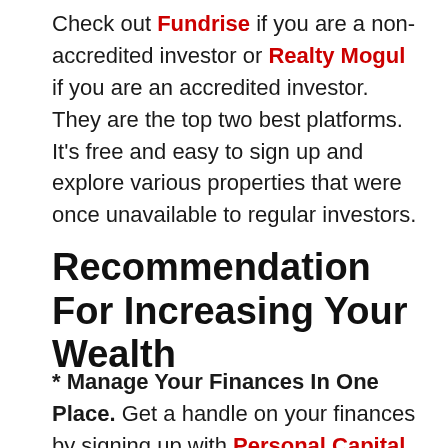Check out Fundrise if you are a non-accredited investor or Realty Mogul if you are an accredited investor. They are the top two best platforms. It's free and easy to sign up and explore various properties that were once unavailable to regular investors.
Recommendation For Increasing Your Wealth
* Manage Your Finances In One Place. Get a handle on your finances by signing up with Personal Capital. They are a free online platform which aggregates all your financial accounts in one place so you can see where you can optimize. Before Personal Capital, I had to log into